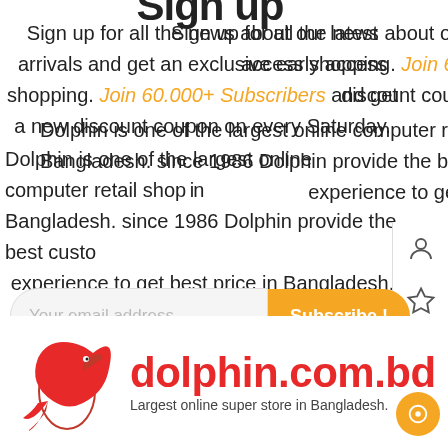Sign up
Sign up for all the news about our latest arrivals and get an exclusive early access shopping. Join 60.000+ Subscribers and get a new discount coupon on every Saturday.
Dolphin is one of the largest online computer retail shop in Bangladesh. since 1986 Dolphin provide the best customer experience to get best price in Bangladesh.
[Figure (other): Email subscription form with 'Your email address...' input and orange 'Subscribe!' button]
[Figure (logo): Dolphin logo: red dolphin illustration with text 'dolphin.com.bd' in red and 'Largest online super store in Bangladesh' below, orange circle icon at right]